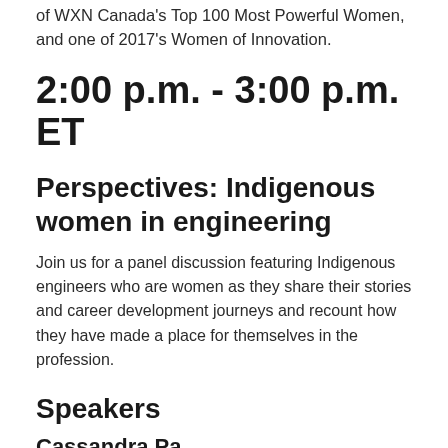of WXN Canada's Top 100 Most Powerful Women, and one of 2017's Women of Innovation.
2:00 p.m. - 3:00 p.m. ET
Perspectives: Indigenous women in engineering
Join us for a panel discussion featuring Indigenous engineers who are women as they share their stories and career development journeys and recount how they have made a place for themselves in the profession.
Speakers
Cassandra Pa...